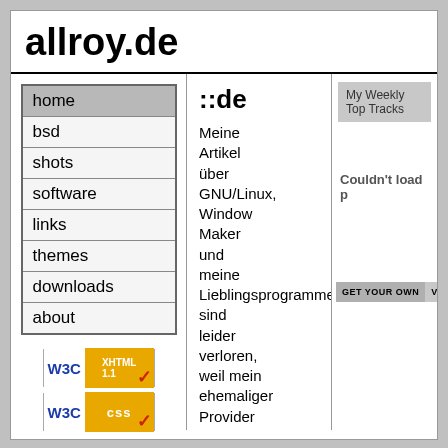allroy.de
home
bsd
shots
software
links
themes
downloads
about
[Figure (logo): W3C XHTML 1.1 validation badge]
[Figure (logo): W3C CSS validation badge]
[Figure (illustration): Font size icons (A, A, A)]
::de
Meine Artikel über GNU/Linux, Window Maker und meine Lieblingsprogramme sind leider verloren, weil mein ehemaliger Provider
My Weekly Top Tracks
Couldn't load p
GET YOUR OWN  VIEW